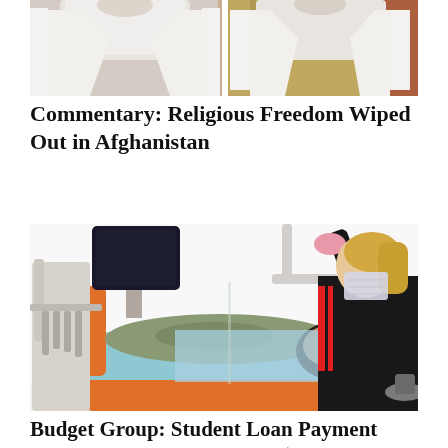[Figure (photo): Two people in white coats, partial view from shoulders up, against a patterned background]
Commentary: Religious Freedom Wiped Out in Afghanistan
[Figure (photo): Dental office scene: patient reclined in dental chair with head tilted back, female dental professional in black outfit with mask standing beside, dental equipment visible]
Budget Group: Student Loan Payment Deferments Cost Taxpayers $155 Billion, Benefits Doctors, Dentists More than Most